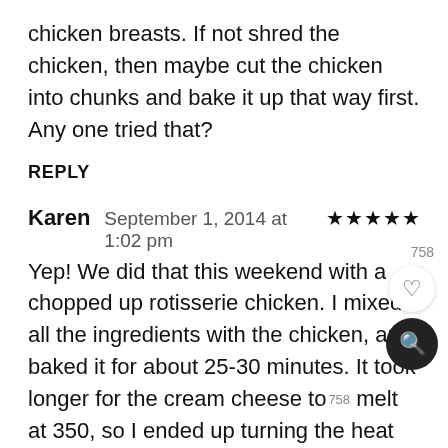chicken breasts. If not shred the chicken, then maybe cut the chicken into chunks and bake it up that way first. Any one tried that?
REPLY
Karen   September 1, 2014 at 1:02 pm   ★★★★★
Yep! We did that this weekend with a chopped up rotisserie chicken. I mixed all the ingredients with the chicken, and baked it for about 25-30 minutes. It took longer for the cream cheese to melt at 350, so I ended up turning the heat up 400 after 15 min, and covering with foil so the topping didn't burn. Also use panko bread crumbs instead of crackers. It was amazing!
molinda   August 23, 2014 at 6:20 pm